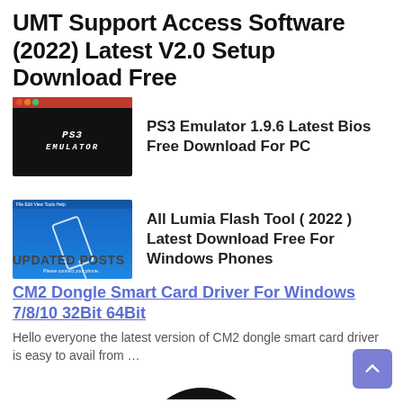UMT Support Access Software (2022) Latest V2.0 Setup Download Free
[Figure (screenshot): PS3 Emulator thumbnail - black background with red title bar and PS3 EMULATOR logo text in white]
PS3 Emulator 1.9.6 Latest Bios Free Download For PC
[Figure (screenshot): All Lumia Flash Tool thumbnail - blue background with phone graphic]
All Lumia Flash Tool ( 2022 ) Latest Download Free For Windows Phones
UPDATED POSTS
CM2 Dongle Smart Card Driver For Windows 7/8/10 32Bit 64Bit
Hello everyone the latest version of CM2 dongle smart card driver is easy to avail from …
[Figure (photo): Partial black circle at bottom of page]